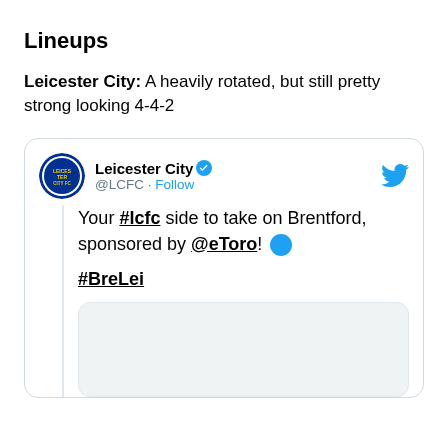Lineups
Leicester City: A heavily rotated, but still pretty strong looking 4-4-2
[Figure (screenshot): Embedded tweet from Leicester City (@LCFC) with verified badge and Follow button. Tweet text: 'Your #lcfc side to take on Brentford, sponsored by @eToro! 🔵 #BreLei'. Includes a partially visible image placeholder at the bottom.]